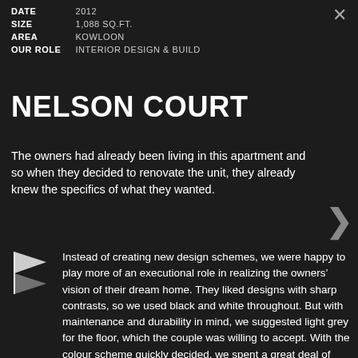|  |  |
| --- | --- |
| DATE | 2012 |
| SIZE | 1,088 SQ.FT. |
| AREA | KOWLOON |
| OUR ROLE | INTERIOR DESIGN & BUILD |
NELSON COURT
The owners had already been living in this apartment and so when they decided to renovate the unit, they already knew the specifics of what they wanted.
[Figure (illustration): Small decorative icon of a stylized figure or design element]
Instead of creating new design schemes, we were happy to play more of an executional role in realizing the owners' vision of their dream home. They liked designs with sharp contrasts, so we used black and white throughout. But with maintenance and durability in mind, we suggested light grey for the floor, which the couple was willing to accept. With the colour scheme quickly decided, we spent a great deal of time sourcing finishing materials with interesting